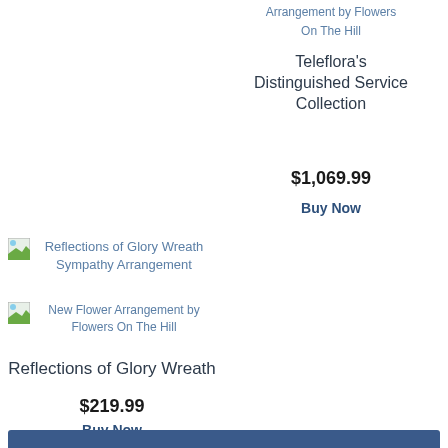Arrangement by Flowers On The Hill
Teleflora's Distinguished Service Collection
$1,069.99
Buy Now
[Figure (photo): Broken image placeholder for Reflections of Glory Wreath Sympathy Arrangement]
Reflections of Glory Wreath Sympathy Arrangement
[Figure (photo): Broken image placeholder for New Flower Arrangement by Flowers On The Hill]
New Flower Arrangement by Flowers On The Hill
Reflections of Glory Wreath
$219.99
Buy Now